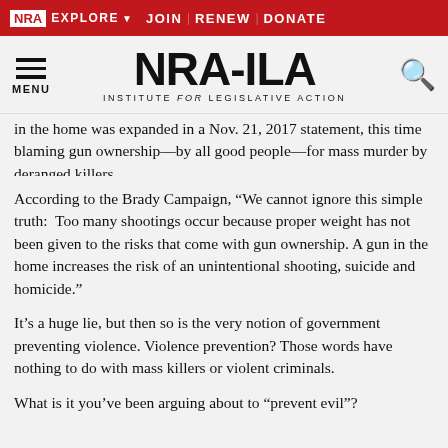NRA EXPLORE | JOIN | RENEW | DONATE
[Figure (logo): NRA-ILA Institute for Legislative Action logo with hamburger menu and search icon]
in the home was expanded in a Nov. 21, 2017 statement, this time blaming gun ownership—by all good people—for mass murder by deranged killers.
According to the Brady Campaign, “We cannot ignore this simple truth:  Too many shootings occur because proper weight has not been given to the risks that come with gun ownership. A gun in the home increases the risk of an unintentional shooting, suicide and homicide.”
It’s a huge lie, but then so is the very notion of government preventing violence. Violence prevention? Those words have nothing to do with mass killers or violent criminals.
What is it you’ve been arguing about to “prevent evil”?